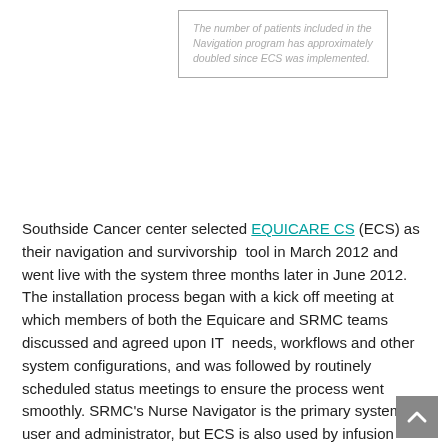The number of patients included in the Navigation program has approximately doubled since ECS was implemented.
Southside Cancer center selected EQUICARE CS (ECS) as their navigation and survivorship tool in March 2012 and went live with the system three months later in June 2012. The installation process began with a kick off meeting at which members of both the Equicare and SRMC teams discussed and agreed upon IT needs, workflows and other system configurations, and was followed by routinely scheduled status meetings to ensure the process went smoothly. SRMC's Nurse Navigator is the primary system user and administrator, but ECS is also used by infusion nurses, social workers interns and others.
SRMC analyzed their workflows and use cases prior to installation and as a result, were able to launch with customizations specific to their organization.